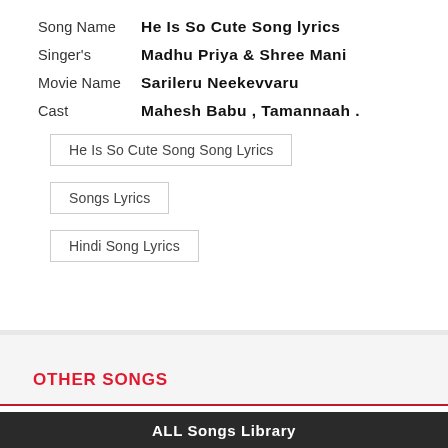| Song Name | He Is So Cute Song lyrics |
| Singer's | Madhu Priya & Shree Mani |
| Movie Name | Sarileru Neekevvaru |
| Cast | Mahesh Babu , Tamannaah . |
He Is So Cute Song Song Lyrics
Songs Lyrics
Hindi Song Lyrics
OTHER SONGS
Daang Daang Song Lyrics
ALL Songs Library